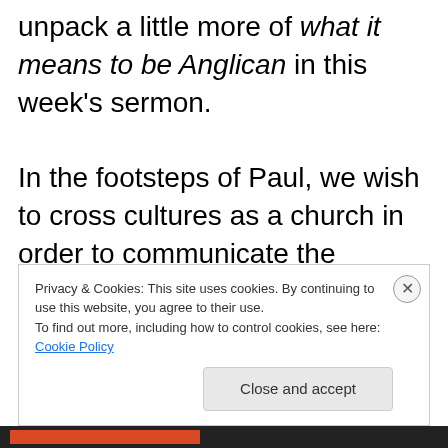unpack a little more of what it means to be Anglican in this week's sermon. In the footsteps of Paul, we wish to cross cultures as a church in order to communicate the Gospel, but also like Paul we need to come with a good idea of who we are! Our scripture readings for this Sunday will be Isaiah 40:27-31, 1 Corinthians 9:16-23,
Privacy & Cookies: This site uses cookies. By continuing to use this website, you agree to their use. To find out more, including how to control cookies, see here: Cookie Policy
Close and accept